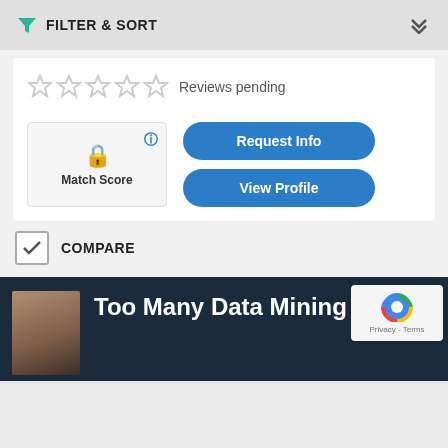FILTER & SORT
Reviews pending
Match Score
Request Info
View Profile
COMPARE
Too Many Data Mining Tools